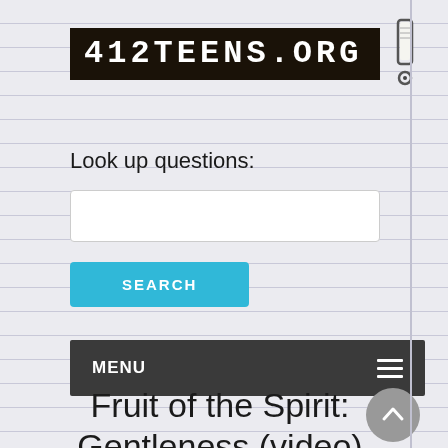[Figure (logo): 412TEENS.ORG logo in white chalk-style text on dark brown/black background with a hand-drawn exclamation mark to the right]
Look up questions:
[Figure (screenshot): Search input text field, empty, with rounded border]
[Figure (screenshot): Cyan/blue SEARCH button]
MENU
Fruit of the Spirit: Gentleness (video)